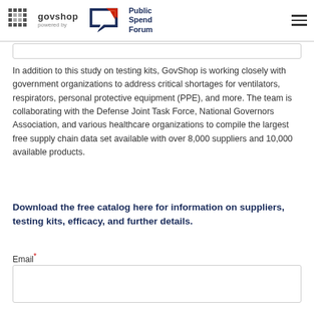govshop powered by Public Spend Forum
In addition to this study on testing kits, GovShop is working closely with government organizations to address critical shortages for ventilators, respirators, personal protective equipment (PPE), and more. The team is collaborating with the Defense Joint Task Force, National Governors Association, and various healthcare organizations to compile the largest free supply chain data set available with over 8,000 suppliers and 10,000 available products.
Download the free catalog here for information on suppliers, testing kits, efficacy, and further details.
Email*